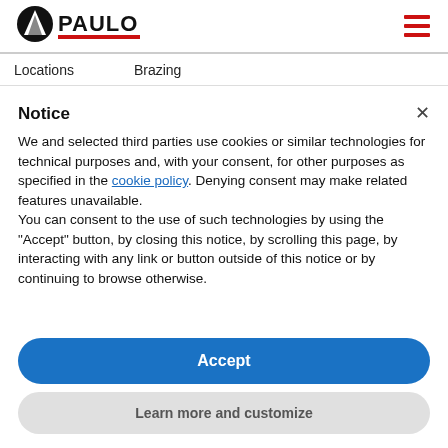PAULO [logo] [hamburger menu]
Locations   Brazing
Notice
We and selected third parties use cookies or similar technologies for technical purposes and, with your consent, for other purposes as specified in the cookie policy. Denying consent may make related features unavailable.
You can consent to the use of such technologies by using the "Accept" button, by closing this notice, by scrolling this page, by interacting with any link or button outside of this notice or by continuing to browse otherwise.
Accept
Learn more and customize